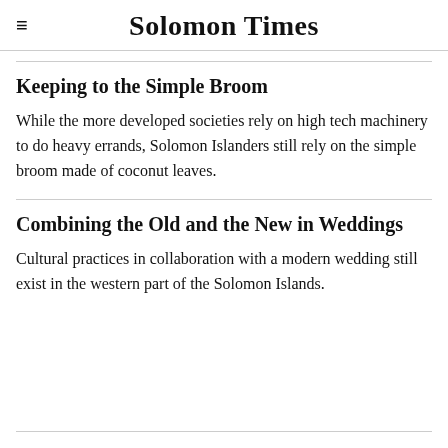Solomon Times
Keeping to the Simple Broom
While the more developed societies rely on high tech machinery to do heavy errands, Solomon Islanders still rely on the simple broom made of coconut leaves.
Combining the Old and the New in Weddings
Cultural practices in collaboration with a modern wedding still exist in the western part of the Solomon Islands.